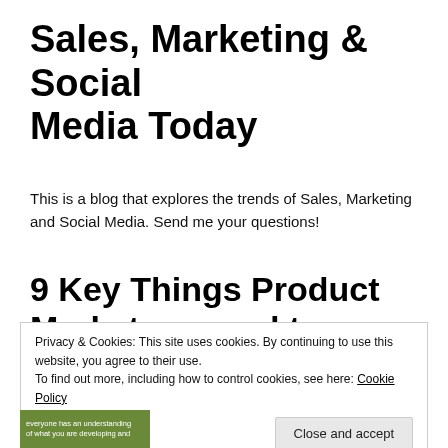Sales, Marketing & Social Media Today
This is a blog that explores the trends of Sales, Marketing and Social Media. Send me your questions!
9 Key Things Product Marketers need to Address in a Product Marketing Brief
Privacy & Cookies: This site uses cookies. By continuing to use this website, you agree to their use.
To find out more, including how to control cookies, see here: Cookie Policy
Close and accept
[Figure (photo): Small green banner image with white text reading 'everyone has an understanding of what you are developing and']